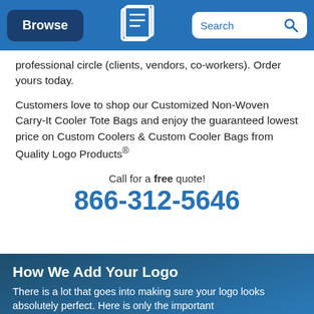Browse | [Quality Logo Products logo] | Search
professional circle (clients, vendors, co-workers). Order yours today.
Customers love to shop our Customized Non-Woven Carry-It Cooler Tote Bags and enjoy the guaranteed lowest price on Custom Coolers & Custom Cooler Bags from Quality Logo Products®
Call for a free quote! 866-312-5646
How We Add Your Logo
There is a lot that goes into making sure your logo looks absolutely perfect. Here is only the important